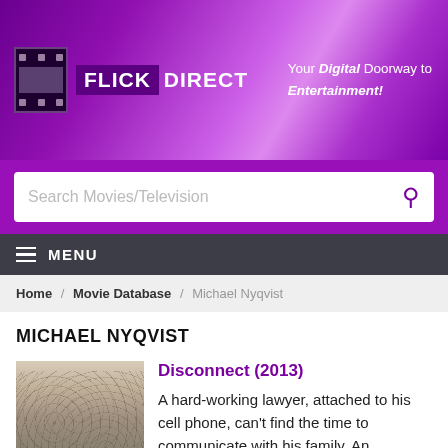FLICK DIRECT — Your Digital Doorway to Entertainment!
Search Movies/Television
≡ MENU
Home / Movie Database / Michael Nyqvist
MICHAEL NYQVIST
[Figure (photo): Movie poster for Disconnect (2013) showing aerial view of crowd, with title DISCONNECT at bottom]
Disconnect (2013)
A hard-working lawyer, attached to his cell phone, can't find the time to communicate with his family. An estranged couple uses the internet as a means to escape from their lifeless marriage. A widowed...